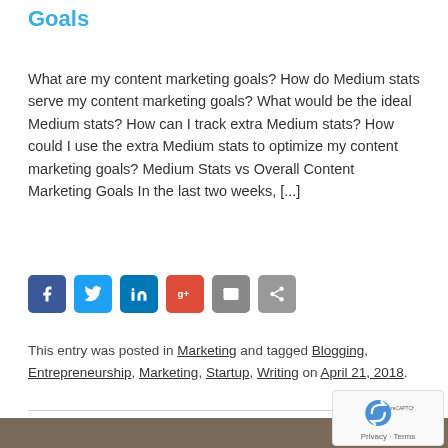Goals
What are my content marketing goals? How do Medium stats serve my content marketing goals? What would be the ideal Medium stats? How can I track extra Medium stats? How could I use the extra Medium stats to optimize my content marketing goals? Medium Stats vs Overall Content Marketing Goals In the last two weeks, [...]
[Figure (infographic): Social sharing buttons: Facebook (blue), Twitter (light blue), LinkedIn (dark blue), Google+ (red), Email (grey), Share (grey)]
This entry was posted in Marketing and tagged Blogging, Entrepreneurship, Marketing, Startup, Writing on April 21, 2018.
[Figure (photo): Partial bottom image showing dark wooden surface, cut off at bottom of page. reCAPTCHA badge visible in bottom right corner with Privacy · Terms text.]